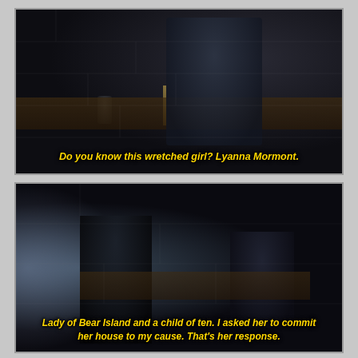[Figure (screenshot): Dark medieval interior scene from a TV show (Game of Thrones). A man in dark clothing sits at a table in a dimly lit stone room with a goblet and candlestick visible. Subtitle reads: 'Do you know this wretched girl? Lyanna Mormont.']
[Figure (screenshot): Dark medieval interior scene from a TV show (Game of Thrones). Two figures stand/sit in a dim stone room. Light streams from a doorway on the left. Subtitle reads: 'Lady of Bear Island and a child of ten. I asked her to commit her house to my cause. That's her response.']